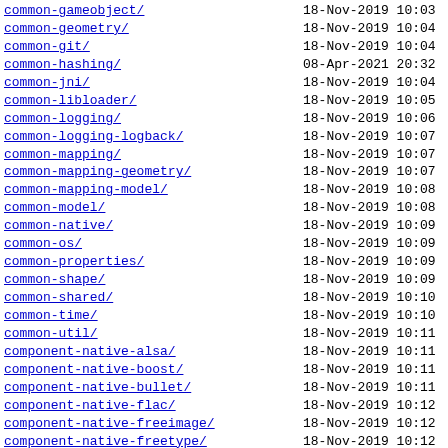common-gameobject/   18-Nov-2019 10:03
common-geometry/     18-Nov-2019 10:04
common-git/          18-Nov-2019 10:04
common-hashing/      08-Apr-2021 20:32
common-jni/          18-Nov-2019 10:04
common-libloader/    18-Nov-2019 10:05
common-logging/      18-Nov-2019 10:06
common-logging-logback/  18-Nov-2019 10:07
common-mapping/      18-Nov-2019 10:07
common-mapping-geometry/ 18-Nov-2019 10:07
common-mapping-model/    18-Nov-2019 10:08
common-model/        18-Nov-2019 10:08
common-native/       18-Nov-2019 10:09
common-os/           18-Nov-2019 10:09
common-properties/   18-Nov-2019 10:09
common-shape/        18-Nov-2019 10:09
common-shared/       18-Nov-2019 10:10
common-time/         18-Nov-2019 10:10
common-util/         18-Nov-2019 10:11
component-native-alsa/   18-Nov-2019 10:11
component-native-boost/  18-Nov-2019 10:11
component-native-bullet/ 18-Nov-2019 10:11
component-native-flac/   18-Nov-2019 10:12
component-native-freeimage/ 18-Nov-2019 10:12
component-native-freetype/ 18-Nov-2019 10:12
component-native-jpeg/   18-Nov-2019 10:12
component-native-libsndfile/ 18-Nov-2019 10:12
component-native-ogg/    18-Nov-2019 10:12
component-native-ogre3d/ 18-Nov-2019 10:13
component-native-ogredeps/ 18-Nov-2019 10:13